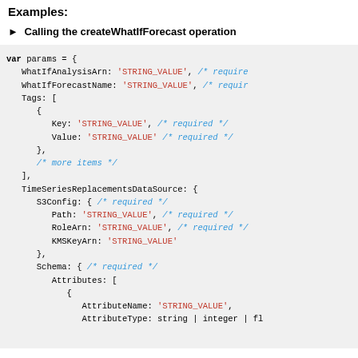Examples:
► Calling the createWhatIfForecast operation
var params = {
  WhatIfAnalysisArn: 'STRING_VALUE', /* required */
  WhatIfForecastName: 'STRING_VALUE', /* required */
  Tags: [
    {
      Key: 'STRING_VALUE', /* required */
      Value: 'STRING_VALUE' /* required */
    },
    /* more items */
  ],
  TimeSeriesReplacementsDataSource: {
    S3Config: { /* required */
      Path: 'STRING_VALUE', /* required */
      RoleArn: 'STRING_VALUE', /* required */
      KMSKeyArn: 'STRING_VALUE'
    },
    Schema: { /* required */
      Attributes: [
        {
          AttributeName: 'STRING_VALUE',
          AttributeType: string | integer | fl
        },